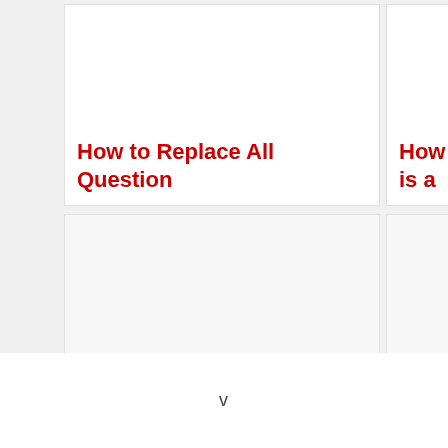How to Replace All Question
How to Check if One String is a
How to Check if a String
How to Check if a String has
[Figure (screenshot): Partially visible card at bottom left]
v